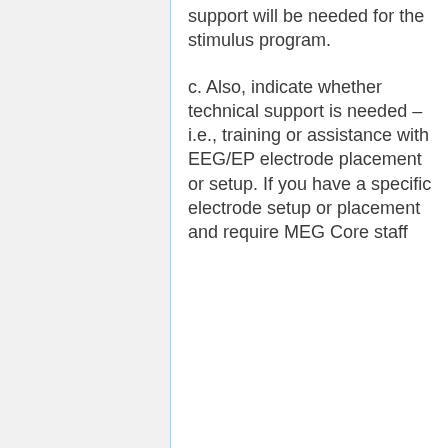support will be needed for the stimulus program.
c. Also, indicate whether technical support is needed – i.e., training or assistance with EEG/EP electrode placement or setup. If you have a specific electrode setup or placement and require MEG Core staff